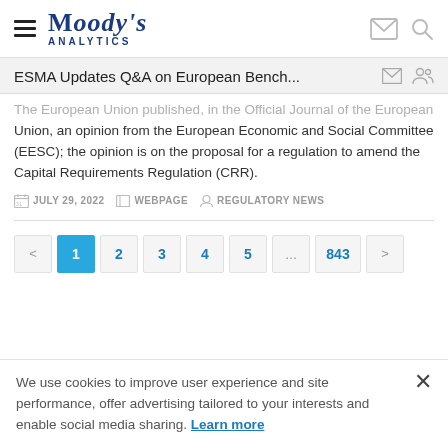Moody's Analytics
ESMA Updates Q&A on European Bench...
The European Union published, in the Official Journal of the European Union, an opinion from the European Economic and Social Committee (EESC); the opinion is on the proposal for a regulation to amend the Capital Requirements Regulation (CRR).
JULY 29, 2022  WEBPAGE  REGULATORY NEWS
< 1 2 3 4 5 ... 843 >
We use cookies to improve user experience and site performance, offer advertising tailored to your interests and enable social media sharing. Learn more